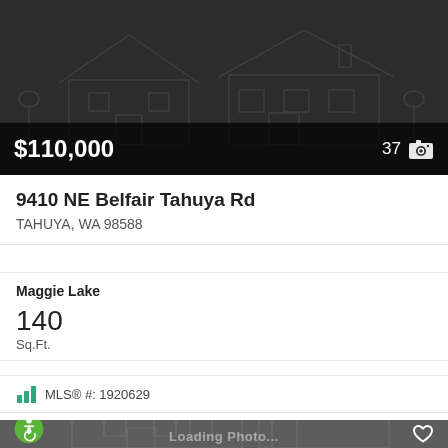[Figure (screenshot): Real estate listing card showing a property photo placeholder with dark background and house outline watermark, price $110,000 with photo count 37]
9410 NE Belfair Tahuya Rd
TAHUYA, WA 98588
Maggie Lake
140 Sq.Ft.
MLS® #: 1920629
[Figure (screenshot): Second real estate listing card with dark grey background, house outline watermark, heart/favorite icon in top right, accessibility icon bottom left, and 'Loading Photo...' text overlay]